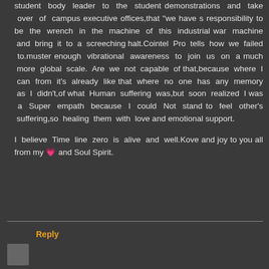student body leader to the student demonstrations and take over of campus executive offices,that "we have s responsibility to be the wrench in the machine of this industrial war machine and bring it to a screeching halt.Cointel Pro tells how we failed to.muster enough vibrational awareness to join us on a much more global scale. Are we not capable of that,because where I can from it's already like that where no one has any memory as I didn't,of what Human suffering was,but soon realized I was a Super empath because I could Not stand to feel other's suffering,so healing them with love and emotional support.

I believe Time line zero is alive and well.Kove and joy to you all from my 💗 and Soul Spirit.
Reply